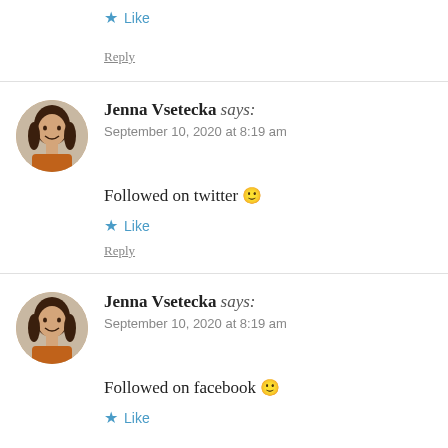★ Like
Reply
Jenna Vsetecka says:
September 10, 2020 at 8:19 am
Followed on twitter 🙂
★ Like
Reply
Jenna Vsetecka says:
September 10, 2020 at 8:19 am
Followed on facebook 🙂
★ Like